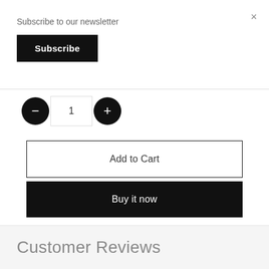Subscribe to our newsletter
Subscribe
×
1
Add to Cart
Buy it now
[Figure (illustration): Social share icons: Facebook, Twitter, Pinterest]
Customer Reviews